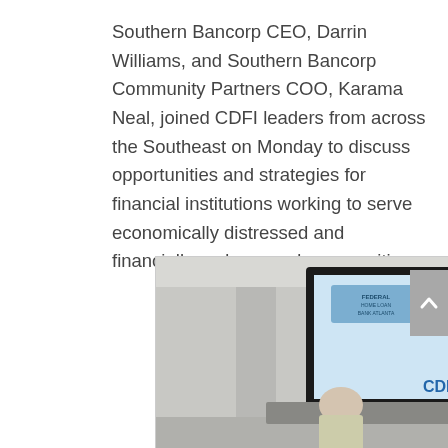Southern Bancorp CEO, Darrin Williams, and Southern Bancorp Community Partners COO, Karama Neal, joined CDFI leaders from across the Southeast on Monday to discuss opportunities and strategies for financial institutions working to serve economically distressed and financially underserved communities.
[Figure (photo): Panel discussion event photo showing four men seated at a table in front of a projection screen displaying 'CDFIs in the Southeast: Embracing New Opportunities and Addressing Challenges' with logos for FHLBank, CDBA, NCIF, and National Bankers Association.]